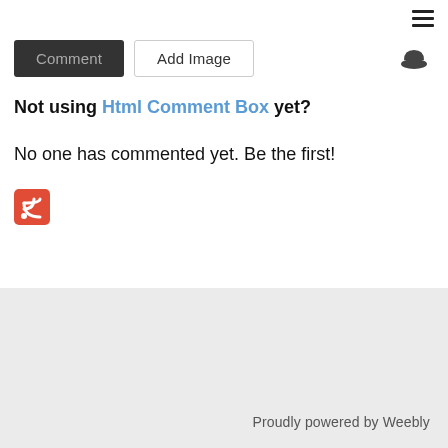[Figure (other): Hamburger menu icon (three horizontal lines) in top right corner]
[Figure (other): Two buttons: dark 'Comment' button and outlined 'Add Image' button, with a thumbs-up icon on the right]
Not using Html Comment Box yet?
No one has commented yet. Be the first!
[Figure (other): RSS feed icon - red square with white RSS signal symbol]
Proudly powered by Weebly